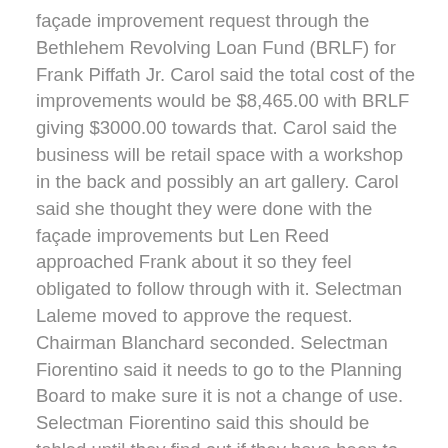façade improvement request through the Bethlehem Revolving Loan Fund (BRLF) for Frank Piffath Jr. Carol said the total cost of the improvements would be $8,465.00 with BRLF giving $3000.00 towards that. Carol said the business will be retail space with a workshop in the back and possibly an art gallery. Carol said she thought they were done with the façade improvements but Len Reed approached Frank about it so they feel obligated to follow through with it. Selectman Laleme moved to approve the request. Chairman Blanchard seconded. Selectman Fiorentino said it needs to go to the Planning Board to make sure it is not a change of use. Selectman Fiorentino said this should be tabled until they find out if they have been to the Planning Board. Selectman Laleme said she would find out. Chairman Blanchard withdrew his second. Selectman Laleme withdrew her motion. Chairman Blanchard moved to approve the $3000.00 with the stipulation that the applicant has gone to the